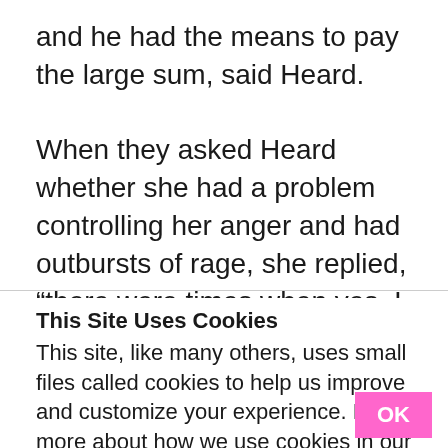and he had the means to pay the large sum, said Heard.

When they asked Heard whether she had a problem controlling her anger and had outbursts of rage, she replied, “there were times when yes, I lost my cool with
This Site Uses Cookies
This site, like many others, uses small files called cookies to help us improve and customize your experience. Learn more about how we use cookies in our cookie policy.